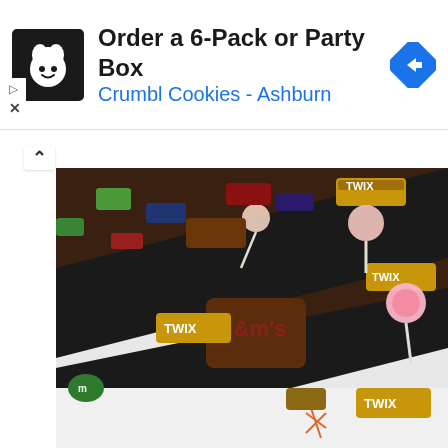[Figure (screenshot): Advertisement bar for Crumbl Cookies - Ashburn showing 'Order a 6-Pack or Party Box' with a dark logo icon of a chef head and a blue navigation arrow icon on the right]
▷
X
∧
[Figure (photo): Close-up photo of Halloween candy assortment in a black witch hat or bag, showing Twix bars, M&M packages, lollipops, and various other wrapped candies spread on a white surface with Halloween decorations]